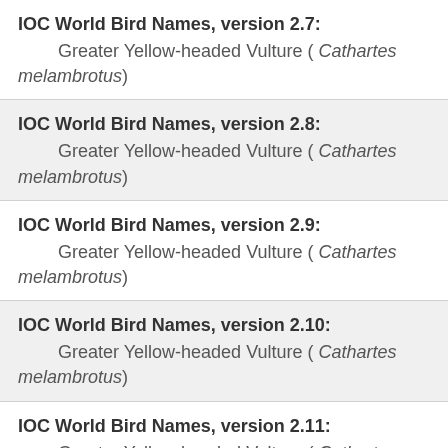IOC World Bird Names, version 2.7: Greater Yellow-headed Vulture ( Cathartes melambrotus)
IOC World Bird Names, version 2.8: Greater Yellow-headed Vulture ( Cathartes melambrotus)
IOC World Bird Names, version 2.9: Greater Yellow-headed Vulture ( Cathartes melambrotus)
IOC World Bird Names, version 2.10: Greater Yellow-headed Vulture ( Cathartes melambrotus)
IOC World Bird Names, version 2.11: Greater Yellow-headed Vulture ( Cathartes